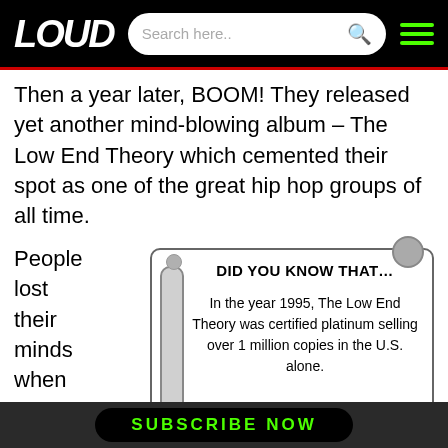LOUD
Then a year later, BOOM! They released yet another mind-blowing album – The Low End Theory which cemented their spot as one of the great hip hop groups of all time.
People lost their minds when The Low End Theory dropped. Perhaps you can say they
[Figure (infographic): Scroll/parchment style 'Did You Know That...' box with text: In the year 1995, The Low End Theory was certified platinum selling over 1 million copies in the U.S. alone.]
SUBSCRIBE NOW